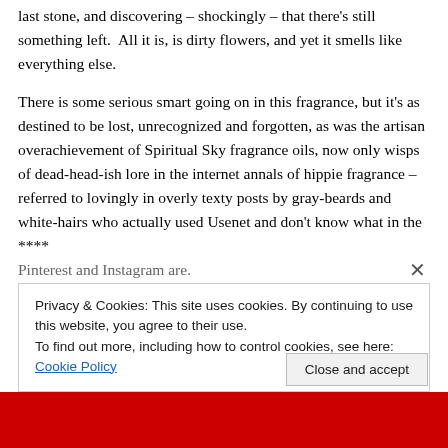last stone, and discovering – shockingly – that there's still something left.  All it is, is dirty flowers, and yet it smells like everything else.
There is some serious smart going on in this fragrance, but it's as destined to be lost, unrecognized and forgotten, as was the artisan overachievement of Spiritual Sky fragrance oils, now only wisps of dead-head-ish lore in the internet annals of hippie fragrance – referred to lovingly in overly texty posts by gray-beards and white-hairs who actually used Usenet and don't know what in the **** Pinterest and Instagram are.
Privacy & Cookies: This site uses cookies. By continuing to use this website, you agree to their use.
To find out more, including how to control cookies, see here: Cookie Policy
Close and accept